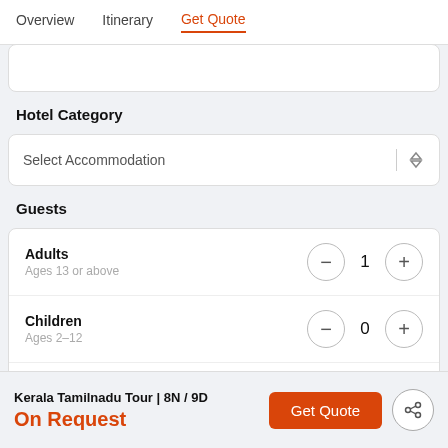Overview | Itinerary | Get Quote
Hotel Category
Select Accommodation
Guests
Adults
Ages 13 or above
1
Children
Ages 2-12
0
Infants
Kerala Tamilnadu Tour | 8N / 9D
On Request
Get Quote